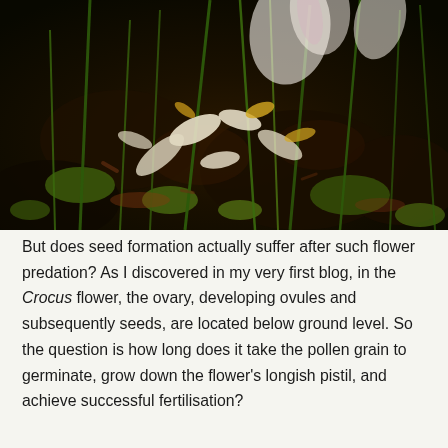[Figure (photo): Close-up photograph of crocus flowers being predated, showing white/yellow petals scattered on dark mossy soil with green grass blades, taken from above at ground level.]
But does seed formation actually suffer after such flower predation? As I discovered in my very first blog, in the Crocus flower, the ovary, developing ovules and subsequently seeds, are located below ground level. So the question is how long does it take the pollen grain to germinate, grow down the flower's longish pistil, and achieve successful fertilisation?